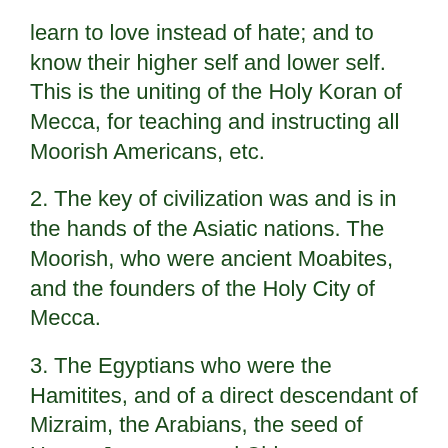learn to love instead of hate; and to know their higher self and lower self. This is the uniting of the Holy Koran of Mecca, for teaching and instructing all Moorish Americans, etc.
2. The key of civilization was and is in the hands of the Asiatic nations. The Moorish, who were ancient Moabites, and the founders of the Holy City of Mecca.
3. The Egyptians who were the Hamitites, and of a direct descendant of Mizraim, the Arabians, the seed of Hagar, Japanese and Chinese.
4. The Hindoos of India, the descendants of the ancient Canaanites,